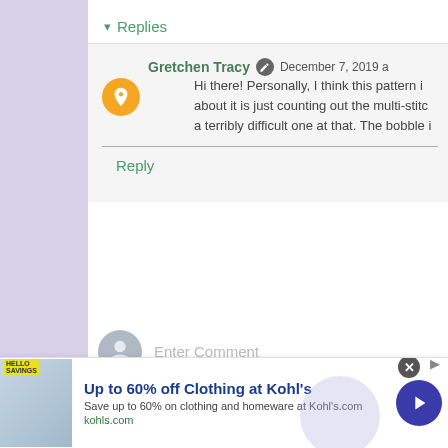▾ Replies
Gretchen Tracy  December 7, 2019 a
Hi there! Personally, I think this pattern is about it is just counting out the multi-stitc a terribly difficult one at that. The bobble i
Reply
Enter Comment
Newer Post
Home
[Figure (screenshot): Ad banner for Kohl's: Up to 60% off Clothing at Kohl's. Save up to 60% on clothing and homeware at Kohl's.com. kohls.com]